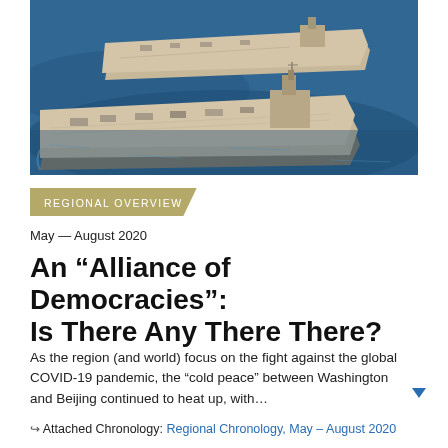[Figure (photo): Aerial photograph of two aircraft carriers sailing on blue ocean water, viewed from above and slightly to the side. The carriers appear to be US Navy vessels with flight decks visible.]
REGIONAL OVERVIEW
May — August 2020
An “Alliance of Democracies”: Is There Any There There?
As the region (and world) focus on the fight against the global COVID-19 pandemic, the “cold peace” between Washington and Beijing continued to heat up, with…
↪ Attached Chronology: Regional Chronology, May – August 2020